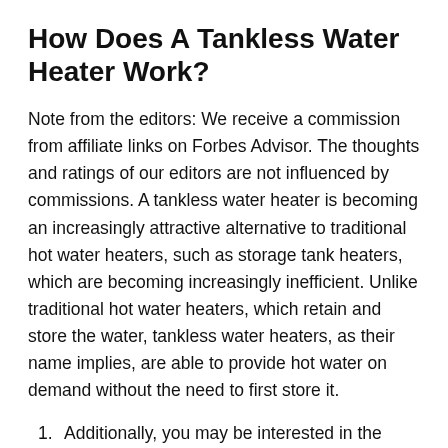How Does A Tankless Water Heater Work?
Note from the editors: We receive a commission from affiliate links on Forbes Advisor. The thoughts and ratings of our editors are not influenced by commissions. A tankless water heater is becoming an increasingly attractive alternative to traditional hot water heaters, such as storage tank heaters, which are becoming increasingly inefficient. Unlike traditional hot water heaters, which retain and store the water, tankless water heaters, as their name implies, are able to provide hot water on demand without the need to first store it.
Additionally, you may be interested in the